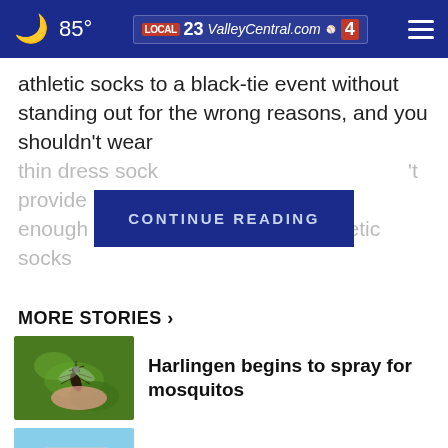85° ValleyCentral.com 23 Local 4
athletic socks to a black-tie event without standing out for the wrong reasons, and you shouldn't wear thin dress socks [CONTINUE READING] 't provide enough suppo[...] hletic socks
MORE STORIES ›
[Figure (photo): Close-up photo of a mosquito on skin with green background]
Harlingen begins to spray for mosquitos
[Figure (photo): Photo of an STC sign/building with blue sky and green grass]
STC to host industry expo for students and alumni
[Figure (photo): Dark microscopic image related to COVID-19]
One COVID-19-related death in Cameron County